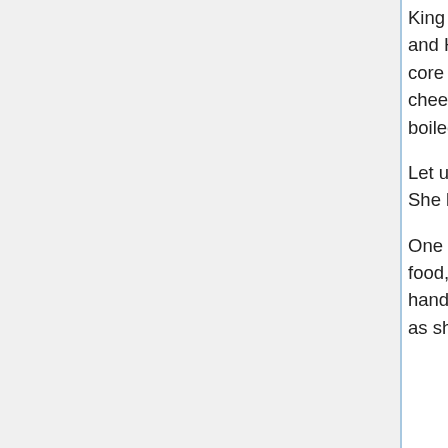King Penguin overseeing their conference with an approving eye. Yumi and Hanae have invited friends and associates, of course -- this is the core tenant of hot pot -- and the pot bubbles over the cooking pit, cheerfully. It's not impossible for someone to drift in, drawn by the scent of boiled broth.
Let us note here, gently, that Hanae is the one attending the cooking pot. She knows Yumi better than to let her try.
One of those friends -- who may well have just drifted in on the scent of food, let's not discount it -- is Mikoto Minagi, who coils around Yumi with a hand lashed around her waist, in shameless affection. She spins on a heel as she unlatches herself, hands clasped up to her chin. "It smells good!"